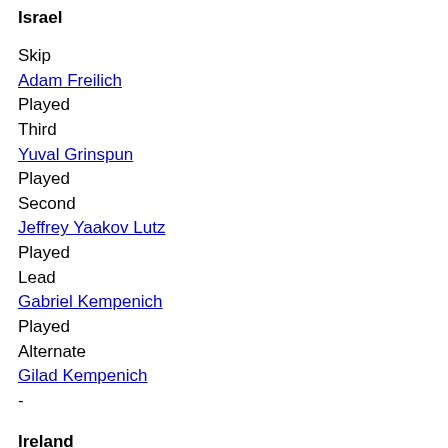Israel
Skip
Adam Freilich
Played
Third
Yuval Grinspun
Played
Second
Jeffrey Yaakov Lutz
Played
Lead
Gabriel Kempenich
Played
Alternate
Gilad Kempenich
-
Ireland
Fourth
James Russell
Played